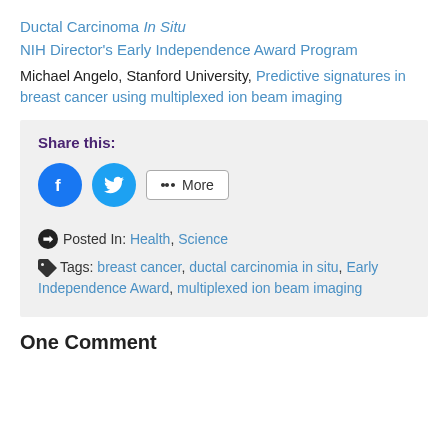Ductal Carcinoma In Situ
NIH Director's Early Independence Award Program
Michael Angelo, Stanford University, Predictive signatures in breast cancer using multiplexed ion beam imaging
Share this:
Posted In: Health, Science
Tags: breast cancer, ductal carcinomia in situ, Early Independence Award, multiplexed ion beam imaging
One Comment